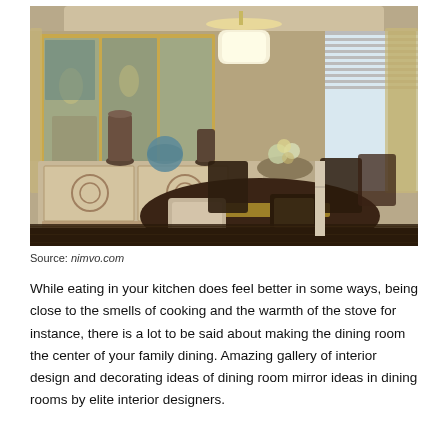[Figure (photo): Interior photo of an elegant dining room with a dark oval table, upholstered chairs, a large gold-framed mirror on the wall, a buffet sideboard with decorative vases, a drum pendant light fixture, and natural light from windows with sheer curtains.]
Source: nimvo.com
While eating in your kitchen does feel better in some ways, being close to the smells of cooking and the warmth of the stove for instance, there is a lot to be said about making the dining room the center of your family dining. Amazing gallery of interior design and decorating ideas of dining room mirror ideas in dining rooms by elite interior designers.